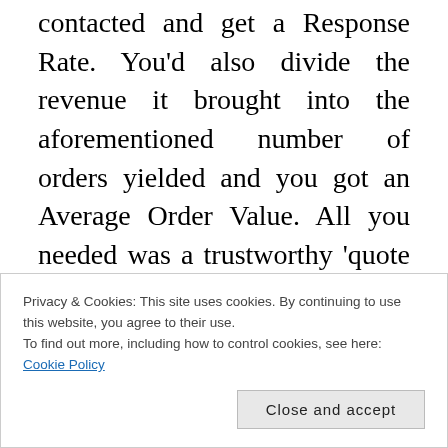contacted and get a Response Rate. You'd also divide the revenue it brought into the aforementioned number of orders yielded and you got an Average Order Value. All you needed was a trustworthy 'quote the code' response mechanism. You knew how many copies you were sending out so, aside from all the sales, you also got a lovely source of comparison data. Then, using something called segmentation, you could have even more nerdy
Privacy & Cookies: This site uses cookies. By continuing to use this website, you agree to their use.
To find out more, including how to control cookies, see here: Cookie Policy
Close and accept